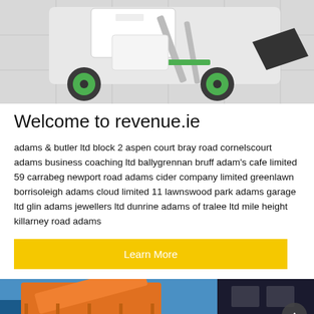[Figure (photo): A white and green compact wheel loader/telehandler with a black bucket attachment, photographed on a light gray tiled surface.]
Welcome to revenue.ie
adams & butler ltd block 2 aspen court bray road cornelscourt adams business coaching ltd ballygrennan bruff adam's cafe limited 59 carrabeg newport road adams cider company limited greenlawn borrisoleigh adams cloud limited 11 lawnswood park adams garage ltd glin adams jewellers ltd dunrine adams of tralee ltd mile height killarney road adams
[Figure (other): Button labeled 'Learn More' with yellow background and white text.]
[Figure (photo): Two images side by side at bottom: left shows an orange industrial skip/container with blue background, right shows a dark vehicle or machinery detail with a circular arrow button overlay.]